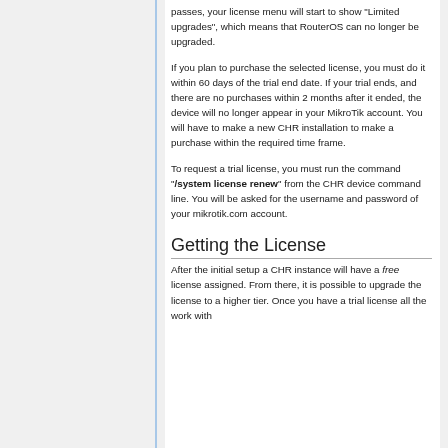passes, your license menu will start to show "Limited upgrades", which means that RouterOS can no longer be upgraded.
If you plan to purchase the selected license, you must do it within 60 days of the trial end date. If your trial ends, and there are no purchases within 2 months after it ended, the device will no longer appear in your MikroTik account. You will have to make a new CHR installation to make a purchase within the required time frame.
To request a trial license, you must run the command "/system license renew" from the CHR device command line. You will be asked for the username and password of your mikrotik.com account.
Getting the License
After the initial setup a CHR instance will have a free license assigned. From there, it is possible to upgrade the license to a higher tier. Once you have a trial license all the work with